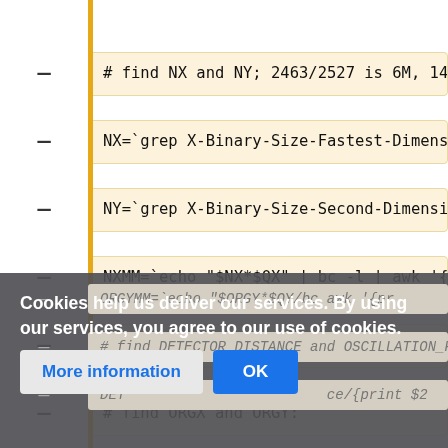# find NX and NY; 2463/2527 is 6M, 1475/167...
NX=`grep X-Binary-Size-Fastest-Dimension tmp...
NY=`grep X-Binary-Size-Second-Dimension tmp...
NXMM=`echo "$NX*$QX" | bc -l | awk '{printf...
NYMM=`echo "$NY*$QY" | bc -l | awk '{printf...
# find ORGX and ORGY:
ORGX=`grep Beam_xy tmp2 | sed -e s/\(// -e s...
ORGY=`grep Beam_xy tmp2 | sed -e s/\(// -e s...
ORGXMM=`echo "$ORGX*$QX" | bc -l | awk '{pr...
Cookies help us deliver our services. By using our services, you agree to our use of cookies.
More information | OK